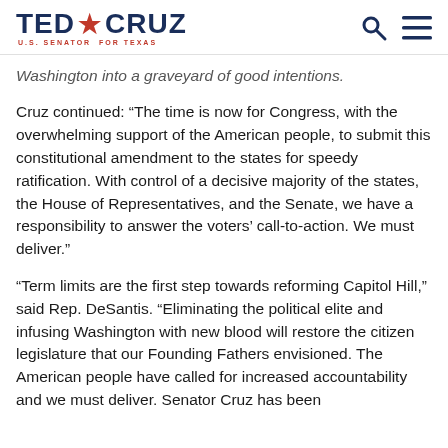TED CRUZ — U.S. SENATOR FOR TEXAS
Washington into a graveyard of good intentions.
Cruz continued: “The time is now for Congress, with the overwhelming support of the American people, to submit this constitutional amendment to the states for speedy ratification. With control of a decisive majority of the states, the House of Representatives, and the Senate, we have a responsibility to answer the voters’ call-to-action. We must deliver.”
“Term limits are the first step towards reforming Capitol Hill,” said Rep. DeSantis. “Eliminating the political elite and infusing Washington with new blood will restore the citizen legislature that our Founding Fathers envisioned. The American people have called for increased accountability and we must deliver. Senator Cruz has been